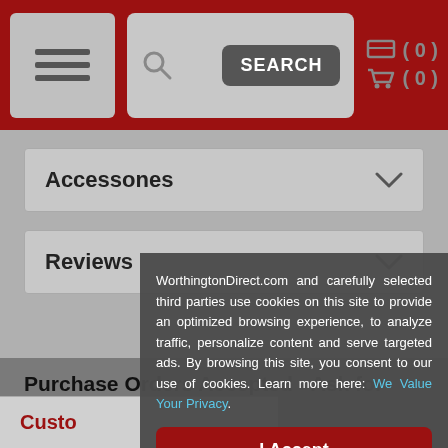WorthingtonDirect.com — navigation header with search and cart
Accessones
Reviews
Purchase Orders Accepted - Ask for Volume
WorthingtonDirect.com and carefully selected third parties use cookies on this site to provide an optimized browsing experience, to analyze traffic, personalize content and serve targeted ads. By browsing this site, you consent to our use of cookies. Learn more here: We Value Your Privacy.
I Accept
Custo...